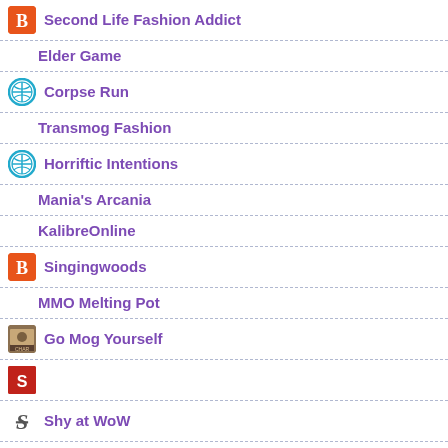Second Life Fashion Addict
Elder Game
Corpse Run
Transmog Fashion
Horriftic Intentions
Mania's Arcania
KalibreOnline
Singingwoods
MMO Melting Pot
Go Mog Yourself
Shy at WoW
The Bloody Stump
Casual Is As Casual Does
We Fly Spitfires – MMORPG Blog